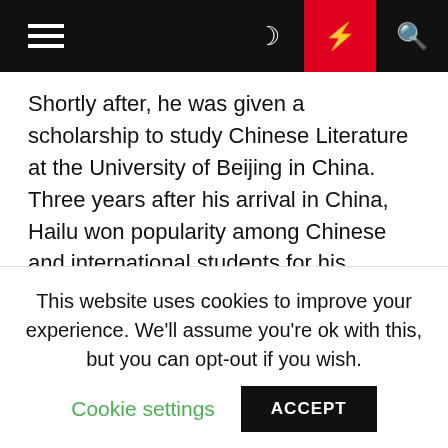Navigation bar with hamburger menu, moon icon, lightning icon, search icon
Shortly after, he was given a scholarship to study Chinese Literature at the University of Beijing in China. Three years after his arrival in China, Hailu won popularity among Chinese and international students for his fluency in the Chinese language and for his observation of the strong and weak points of Chinese philosophy.
His initial Chinese poem on Mao was highly acclaimed by all. Upon completion of the basic studies of the Chinese language, Hailu composed a large Chinese-Amharic dictionary and a Chinese-English...
This website uses cookies to improve your experience. We'll assume you're ok with this, but you can opt-out if you wish.
Cookie settings
ACCEPT